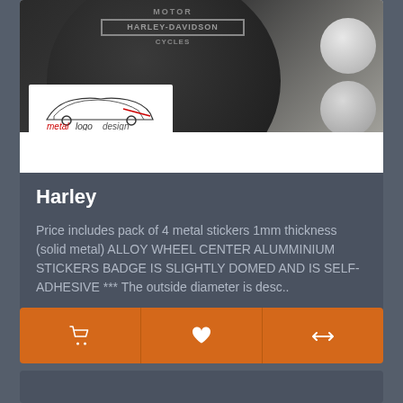[Figure (photo): Product image showing a black circular Harley-Davidson Motor Cycles badge/sticker along with silver aluminum disc stickers. The metallogodesign brand logo is overlaid on the lower left of the image.]
Harley
Price includes pack of 4 metal stickers 1mm thickness (solid metal) ALLOY WHEEL CENTER ALUMMINIUM STICKERS BADGE IS SLIGHTLY DOMED AND IS SELF-ADHESIVE *** The outside diameter is desc..
13.50€